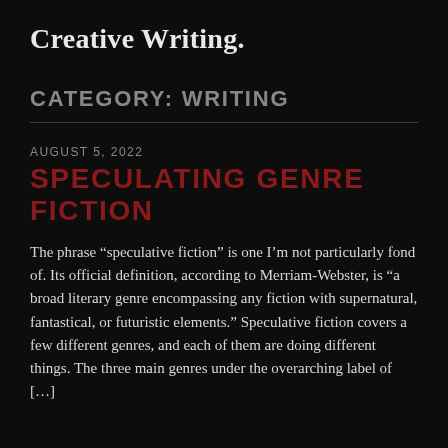Creative Writing.
CATEGORY: WRITING
AUGUST 5, 2022
SPECULATING GENRE FICTION
The phrase “speculative fiction” is one I’m not particularly fond of. Its official definition, according to Merriam-Webster, is “a broad literary genre encompassing any fiction with supernatural, fantastical, or futuristic elements.” Speculative fiction covers a few different genres, and each of them are doing different things. The three main genres under the overarching label of […]